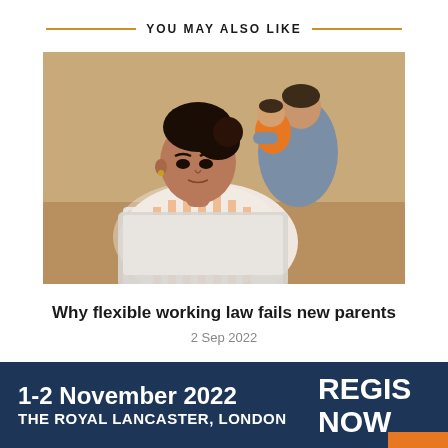YOU MAY ALSO LIKE
[Figure (photo): A woman in a striped top works on a laptop while a man holds a baby in the background]
Why flexible working law fails new parents
2 Sep 2022
1-2 November 2022 THE ROYAL LANCASTER, LONDON REGISTER NOW